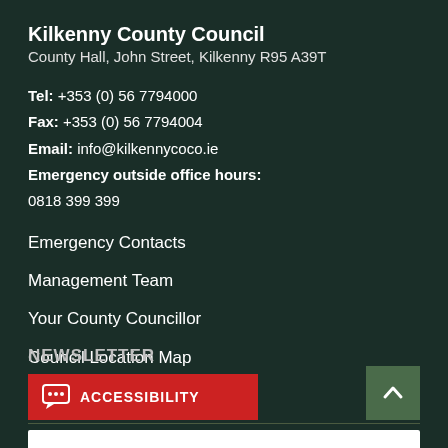Kilkenny County Council
County Hall, John Street, Kilkenny R95 A39T
Tel: +353 (0) 56 7794000
Fax: +353 (0) 56 7794004
Email: info@kilkennycoco.ie
Emergency outside office hours:
0818 399 399
Emergency Contacts
Management Team
Your County Councillor
Council Location Map
Opening Times
NEWSLETTER
ACCESSIBILITY
[Figure (other): Back to top arrow button, green background with upward chevron icon]